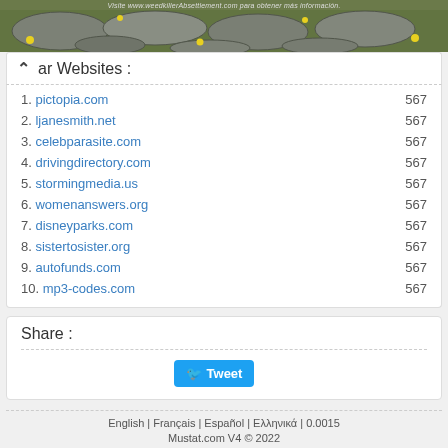[Figure (photo): Banner image showing stones/cobblestones with yellow flowers and green grass, with Spanish text 'Visite www.weedkillerAbsettlement.com para obtener más información.' at the top]
ar Websites :
1. pictopia.com 567
2. ljanesmith.net 567
3. celebparasite.com 567
4. drivingdirectory.com 567
5. stormingmedia.us 567
6. womenanswers.org 567
7. disneyparks.com 567
8. sistertosister.org 567
9. autofunds.com 567
10. mp3-codes.com 567
Share :
Tweet
English | Français | Español | Ελληνικά | 0.0015 Mustat.com V4 © 2022